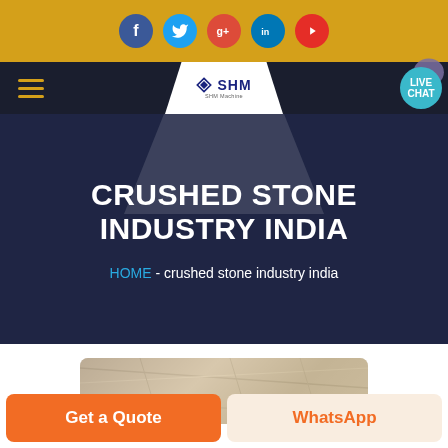[Figure (screenshot): Website header with golden background and 5 social media icons: Facebook (blue), Twitter (light blue), Google+ (red), LinkedIn (blue), YouTube (red)]
[Figure (screenshot): Navigation bar with dark background, hamburger menu icon on left, SHM logo in center trapezoid shape, LIVE CHAT bubble on right]
CRUSHED STONE INDUSTRY INDIA
HOME  -  crushed stone industry india
[Figure (photo): Partial view of an industrial or stone processing facility]
Get a Quote
WhatsApp